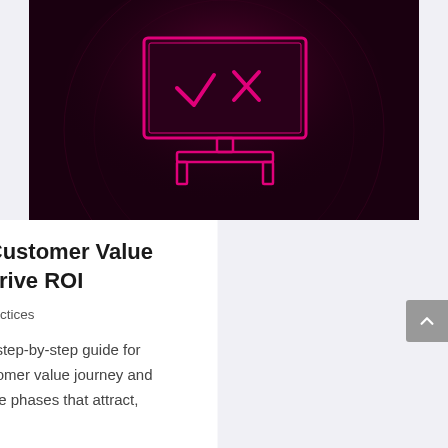[Figure (illustration): Neon pink glowing illustration of a presentation board with a checkmark and X on a dark maroon/black background with circular glow effect]
Master The Customer Value Journey to Drive ROI
Aug 1, 2022 | Best Practices
Welcome to our step-by-step guide for defining the customer value journey and understanding the phases that attract, engage,